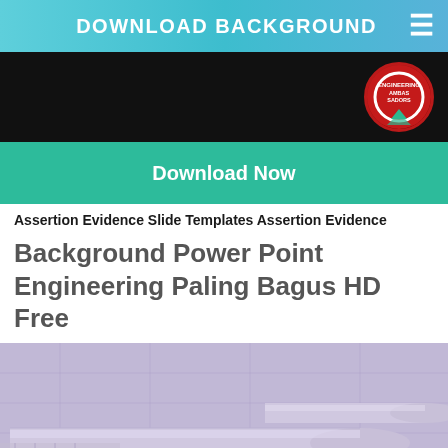DOWNLOAD BACKGROUND
[Figure (screenshot): Black banner with Engineering Ambassadors logo circle on right side]
Download Now
Assertion Evidence Slide Templates Assertion Evidence
Background Power Point Engineering Paling Bagus HD Free
[Figure (photo): Engineering blueprint rolls/tubes with purple/lavender tint, blueprint paper in background]